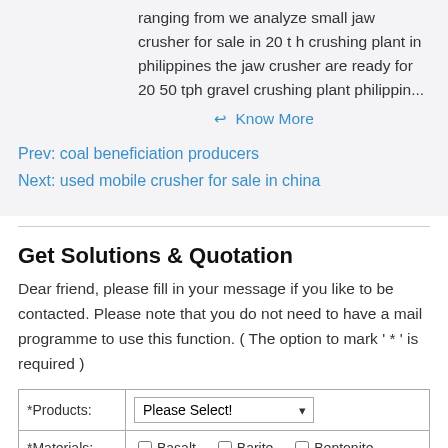ranging from we analyze small jaw crusher for sale in 20 t h crushing plant in philippines the jaw crusher are ready for 20 50 tph gravel crushing plant philippin...
↩ Know More
Prev: coal beneficiation producers
Next: used mobile crusher for sale in china
Get Solutions & Quotation
Dear friend, please fill in your message if you like to be contacted. Please note that you do not need to have a mail programme to use this function. ( The option to mark ' * ' is required )
| *Products: | Please Select! |
| --- | --- |
| *Materials: | Basalt   Barite   Bentonite |